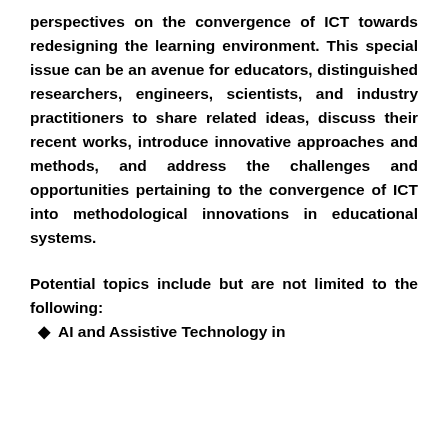perspectives on the convergence of ICT towards redesigning the learning environment. This special issue can be an avenue for educators, distinguished researchers, engineers, scientists, and industry practitioners to share related ideas, discuss their recent works, introduce innovative approaches and methods, and address the challenges and opportunities pertaining to the convergence of ICT into methodological innovations in educational systems.
Potential topics include but are not limited to the following:
AI and Assistive Technology in